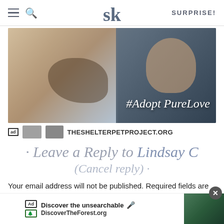SK — SURPRISE!
[Figure (photo): Man looking at a tabby cat by a window, with text '#Adopt PureLove' overlaid. Below the photo: ad logos and THESHELTERPETPROJECT.ORG]
· Leave a Reply to Lindsay C
(Cancel reply) ·
Your email address will not be published. Required fields are marked *
COMMENT
[Figure (screenshot): Bottom ad bar: Ad | USFS icons, 'Discover the unsearchable' with mic icon, DiscoverTheForest.org, photo of people in forest, close (X) button]